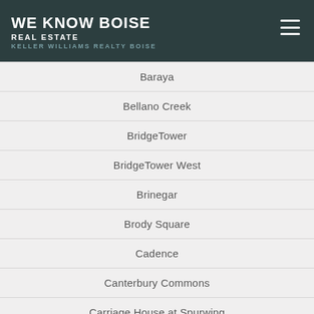WE KNOW BOISE REAL ESTATE KELLER WILLIAMS REALTY BOISE
Baraya
Bellano Creek
BridgeTower
BridgeTower West
Brinegar
Brody Square
Cadence
Canterbury Commons
Carriage House at Spurwing